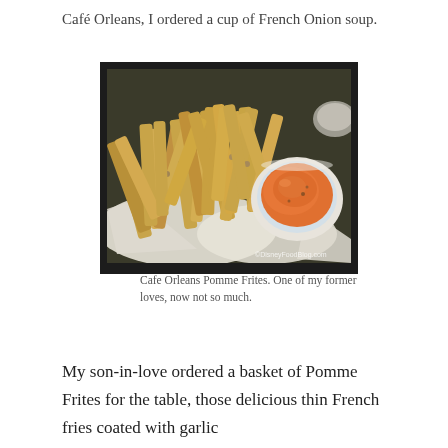Café Orleans, I ordered a cup of French Onion soup.
[Figure (photo): A basket of Cafe Orleans Pomme Frites (thin French fries coated with garlic seasoning) served in a white paper-lined basket with a small white ramekin of orange dipping sauce. Watermark reads ©DisneyFoodBlog.com]
Cafe Orleans Pomme Frites. One of my former loves, now not so much.
My son-in-love ordered a basket of Pomme Frites for the table, those delicious thin French fries coated with garlic